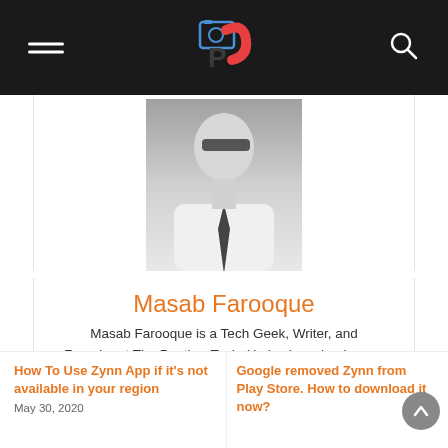The Panther Tech - header bar with logo, menu, and search
[Figure (photo): Black and white photo of Masab Farooque, man in white shirt with tie and sunglasses]
Masab Farooque
Masab Farooque is a Tech Geek, Writer, and Founder at The Panther Tech. He is also a lead game developer at 10StaticStudios.
When he is not writing, he is mostly playing video games
[Figure (infographic): Social media icons: Facebook (f), Instagram (circle icon), LinkedIn (in)]
How To Use Zynn App if it's not available in your region
May 30, 2020
Google removed Zynn from Play Store. How to download it now?